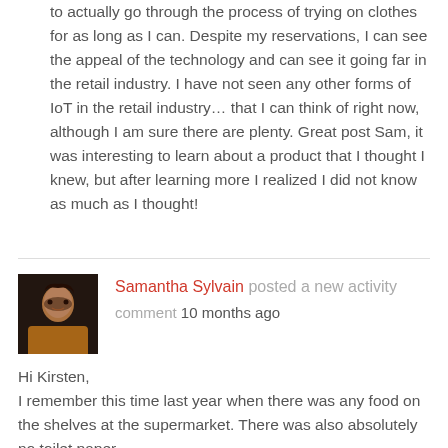to actually go through the process of trying on clothes for as long as I can. Despite my reservations, I can see the appeal of the technology and can see it going far in the retail industry. I have not seen any other forms of IoT in the retail industry… that I can think of right now, although I am sure there are plenty. Great post Sam, it was interesting to learn about a product that I thought I knew, but after learning more I realized I did not know as much as I thought!
Samantha Sylvain posted a new activity comment 10 months ago
[Figure (photo): Profile photo of Samantha Sylvain, a woman with long hair wearing a yellow/orange outfit against a dark background]
Hi Kirsten,
I remember this time last year when there was any food on the shelves at the supermarket. There was also absolutely no toilet paper